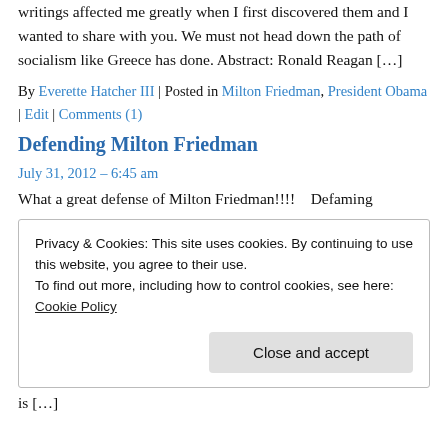writings affected me greatly when I first discovered them and I wanted to share with you. We must not head down the path of socialism like Greece has done. Abstract: Ronald Reagan […]
By Everette Hatcher III | Posted in Milton Friedman, President Obama | Edit | Comments (1)
Defending Milton Friedman
July 31, 2012 – 6:45 am
What a great defense of Milton Friedman!!!!   Defaming
Privacy & Cookies: This site uses cookies. By continuing to use this website, you agree to their use.
To find out more, including how to control cookies, see here: Cookie Policy
Close and accept
is […]